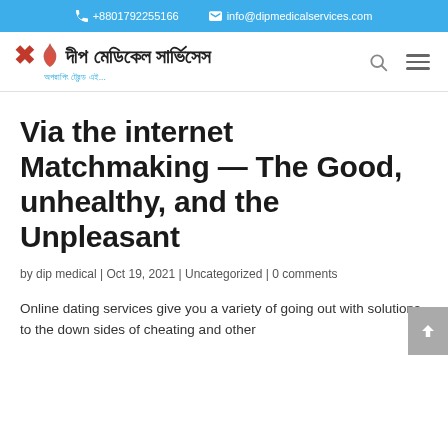+8801792255166  info@dipmedicalservices.com
[Figure (logo): Dip Medical Services logo with Bengali text and flame icon, subtitle in Bengali]
Via the internet Matchmaking — The Good, unhealthy, and the Unpleasant
by dip medical | Oct 19, 2021 | Uncategorized | 0 comments
Online dating services give you a variety of going out with solutions to the down sides of cheating and other